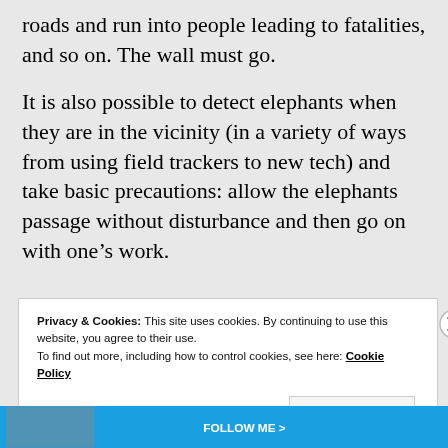roads and run into people leading to fatalities, and so on. The wall must go.
It is also possible to detect elephants when they are in the vicinity (in a variety of ways from using field trackers to new tech) and take basic precautions: allow the elephants passage without disturbance and then go on with one’s work.
Privacy & Cookies: This site uses cookies. By continuing to use this website, you agree to their use.
To find out more, including how to control cookies, see here: Cookie Policy
Close and accept